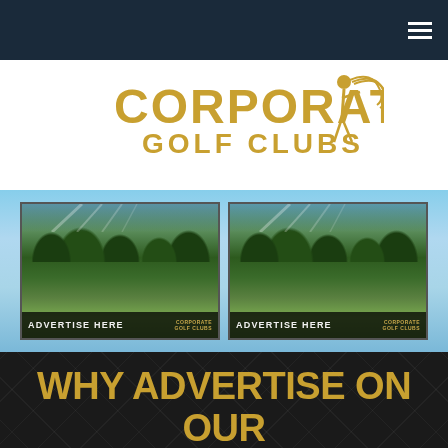Navigation bar with hamburger menu
[Figure (logo): Corporate Golf Clubs logo with golfer silhouette in gold]
[Figure (photo): Two aerial/flyover photos of golf courses side by side, each with 'ADVERTISE HERE' banner and Corporate Golf Clubs logo watermark]
WHY ADVERTISE ON OUR FLYOVERS
Golf is a competitive sport and every